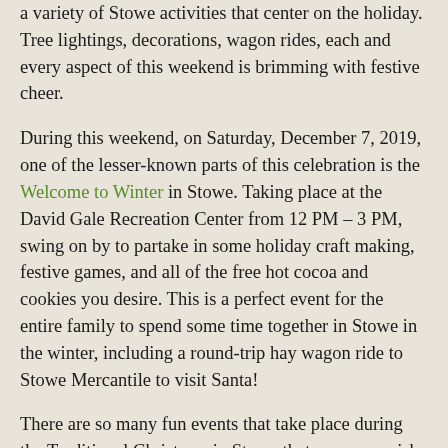a variety of Stowe activities that center on the holiday. Tree lightings, decorations, wagon rides, each and every aspect of this weekend is brimming with festive cheer.
During this weekend, on Saturday, December 7, 2019, one of the lesser-known parts of this celebration is the Welcome to Winter in Stowe. Taking place at the David Gale Recreation Center from 12 PM – 3 PM, swing on by to partake in some holiday craft making, festive games, and all of the free hot cocoa and cookies you desire. This is a perfect event for the entire family to spend some time together in Stowe in the winter, including a round-trip hay wagon ride to Stowe Mercantile to visit Santa!
There are so many fun events that take place during the Traditional Christmas in Stowe that you may wish to spend the entire weekend getting in the spirit of the season with us. If you are coming to Stowe for the Winter, stay in the home-away-from-home comfort of